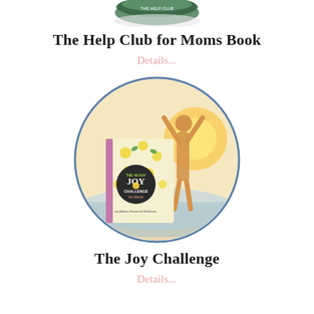[Figure (photo): Partially visible book or product image cropped at the top of the page]
The Help Club for Moms Book
Details...
[Figure (photo): Circular framed image showing a woman with arms raised in sunlight at the beach, with a book titled 'The Joy Challenge for Moms' overlaid in the foreground. The book has a floral cover with yellow flowers.]
The Joy Challenge
Details...